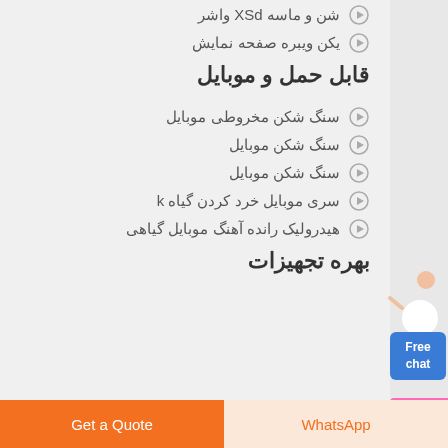شن و ماسه XSd واشر
یکن ویبره صفحه نمایش
قابل حمل و موبایل
سنگ شکن مخروطی موبایل
سنگ شکن موبایل
سنگ شکن موبایل
سری موبایل خرد کردن گیاه k
هیدرولیک رانده آهنگ موبایل گیاهی
بهره تجهیزات